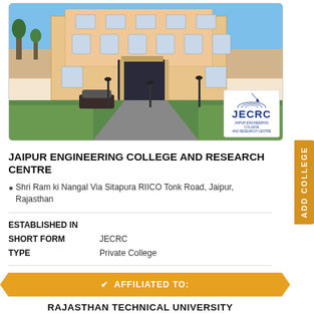[Figure (photo): Exterior photo of Jaipur Engineering College and Research Centre building with green lawn, parked car, blue sky, and JECRC logo overlay in bottom right corner]
JAIPUR ENGINEERING COLLEGE AND RESEARCH CENTRE
Shri Ram ki Nangal Via Sitapura RIICO Tonk Road, Jaipur, Rajasthan
ESTABLISHED IN
SHORT FORM   JECRC
TYPE   Private College
✔ AFFILIATED TO:
RAJASTHAN TECHNICAL UNIVERSITY